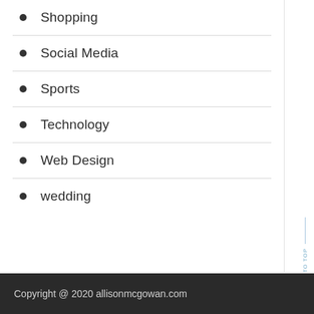Shopping
Social Media
Sports
Technology
Web Design
wedding
Copyright @ 2020 allisonmcgowan.com